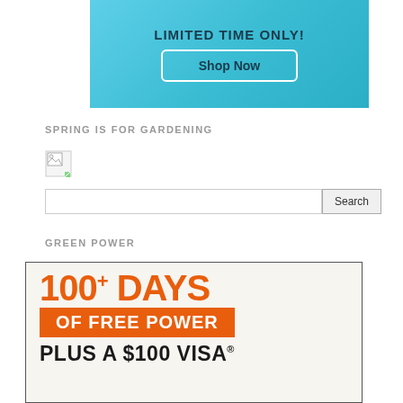[Figure (illustration): Blue/teal gradient banner advertisement with 'LIMITED TIME ONLY!' text and a 'Shop Now' button with white border]
SPRING IS FOR GARDENING
[Figure (photo): Broken image placeholder icon]
[Figure (screenshot): Search bar with text input field and Search button]
GREEN POWER
[Figure (illustration): Advertisement showing '100+ DAYS OF FREE POWER PLUS A $100 VISA®' in orange and black on light background with border]